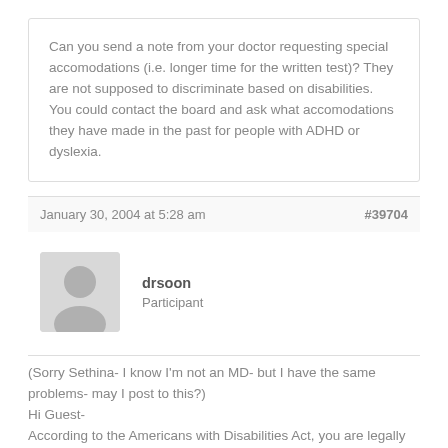Can you send a note from your doctor requesting special accomodations (i.e. longer time for the written test)? They are not supposed to discriminate based on disabilities. You could contact the board and ask what accomodations they have made in the past for people with ADHD or dyslexia.
January 30, 2004 at 5:28 am
#39704
drsoon
Participant
(Sorry Sethina- I know I'm not an MD- but I have the same problems- may I post to this?)
Hi Guest-
According to the Americans with Disabilities Act, you are legally entitled to both separate testing facilities AND extended testing time. It's done for the SAT all the time. Call the folks who are giving the test and ask what you need to